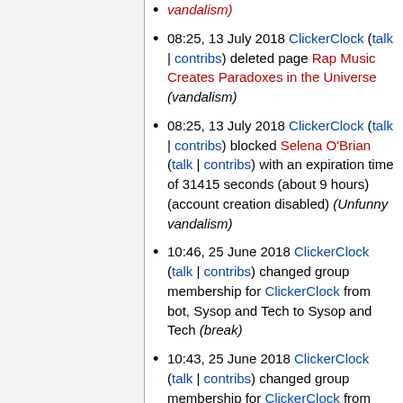(vandalism)
08:25, 13 July 2018 ClickerClock (talk | contribs) deleted page Rap Music Creates Paradoxes in the Universe (vandalism)
08:25, 13 July 2018 ClickerClock (talk | contribs) blocked Selena O'Brian (talk | contribs) with an expiration time of 31415 seconds (about 9 hours) (account creation disabled) (Unfunny vandalism)
10:46, 25 June 2018 ClickerClock (talk | contribs) changed group membership for ClickerClock from bot, Sysop and Tech to Sysop and Tech (break)
10:43, 25 June 2018 ClickerClock (talk | contribs) changed group membership for ClickerClock from Sysop and Tech to Sysop, Tech and